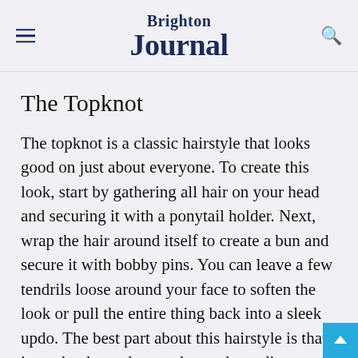Brighton Journal
The Topknot
The topknot is a classic hairstyle that looks good on just about everyone. To create this look, start by gathering all hair on your head and securing it with a ponytail holder. Next, wrap the hair around itself to create a bun and secure it with bobby pins. You can leave a few tendrils loose around your face to soften the look or pull the entire thing back into a sleek updo. The best part about this hairstyle is that it can be dressed up or down, depending on the occasion.